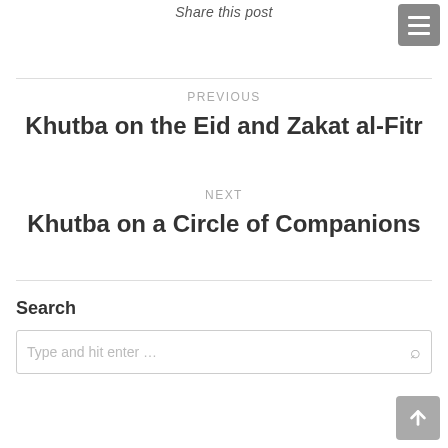Share this post
PREVIOUS
Khutba on the Eid and Zakat al-Fitr
NEXT
Khutba on a Circle of Companions
Search